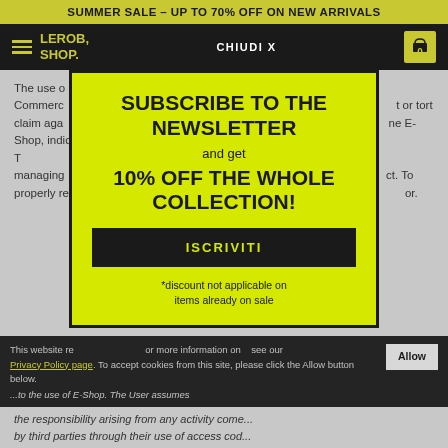SUMMER SALE – UP TO 70% OFF ON NEW ARRIVALS
LEROB, SHOP. | CHIUDI X | 0
The use o... to conclude... Commerc... efore does not g... t or tort claim aga... ni S.r.l. You must... ne E-Shop, indicating... ('Access Codes'). T... or the purpose o... S.r.l managing... f and does not c... ct. To properly re... red fields. The User... or.
[Figure (screenshot): Newsletter subscription modal overlay on yellow background with 'SUBSCRIBE TO THE NEWSLETTER and get 10% OFF THE WHOLE COLLECTION!' heading, ISCRIVITI button, and disclaimer text '*discount not applicable on items already on sale']
This website re... or more information on... see our Privacy Policy page. To accept cookies from this site, please click the Allow button below. ...to the use of E-Shop. The User assumes the responsibility arising from any activity come... by third parties through their use of access cod...